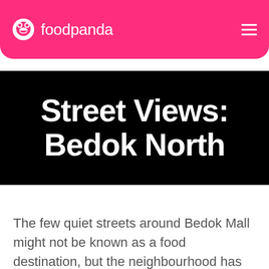foodpanda
Street Views: Bedok North
The few quiet streets around Bedok Mall might not be known as a food destination, but the neighbourhood has some good